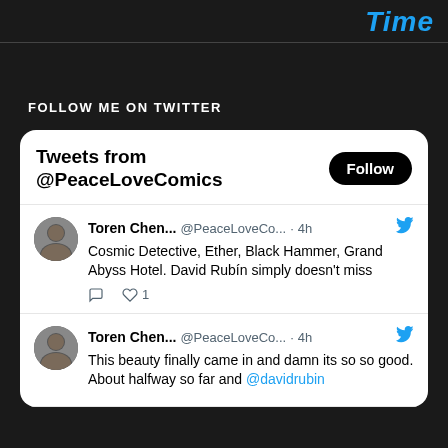Time
FOLLOW ME ON TWITTER
[Figure (screenshot): Twitter widget showing tweets from @PeaceLoveComics with a Follow button. Two tweets by Toren Chen (@PeaceLoveCo...) posted 4h ago. First tweet: 'Cosmic Detective, Ether, Black Hammer, Grand Abyss Hotel. David Rubín simply doesn't miss' with 1 like. Second tweet: 'This beauty finally came in and damn its so so good. About halfway so far and @davidrubin']